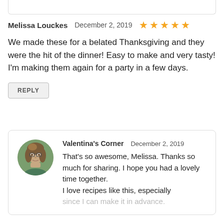Melissa Louckes   December 2, 2019   ★★★★★
We made these for a belated Thanksgiving and they were the hit of the dinner! Easy to make and very tasty! I'm making them again for a party in a few days.
REPLY
[Figure (photo): Circular avatar photo of Valentina's Corner author, a woman with glasses and light brown hair.]
Valentina's Corner   December 2, 2019
That's so awesome, Melissa. Thanks so much for sharing. I hope you had a lovely time together.
I love recipes like this, especially since I can make it in advance.